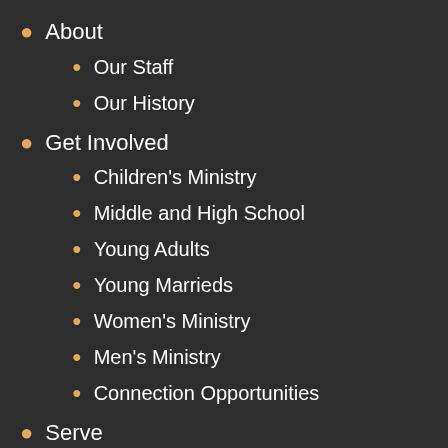About
Our Staff
Our History
Get Involved
Children's Ministry
Middle and High School
Young Adults
Young Marrieds
Women's Ministry
Men's Ministry
Connection Opportunities
Serve
The Community
The World
Sermons